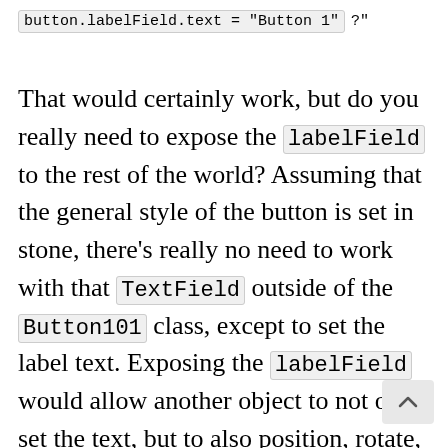button.labelField.text = "Button 1" ?"
That would certainly work, but do you really need to expose the labelField to the rest of the world? Assuming that the general style of the button is set in stone, there's really no need to work with that TextField outside of the Button101 class, except to set the label text. Exposing the labelField would allow another object to not only set the text, but to also position, rotate, style, or even hide the label. This is probably not desirable; even if you're a good citizen and wouldn't intentionally write code that does that, it's better to protect yourself from accidental changes. Let the